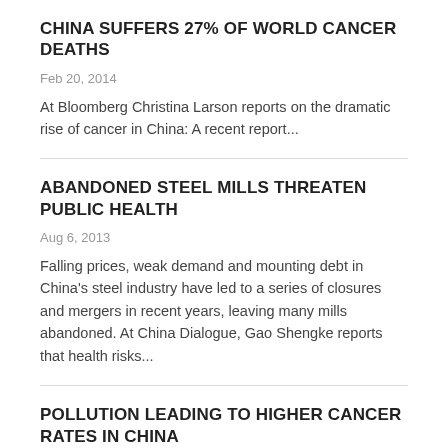CHINA SUFFERS 27% OF WORLD CANCER DEATHS
Feb 20, 2014
At Bloomberg Christina Larson reports on the dramatic rise of cancer in China: A recent report...
ABANDONED STEEL MILLS THREATEN PUBLIC HEALTH
Aug 6, 2013
Falling prices, weak demand and mounting debt in China's steel industry have led to a series of closures and mergers in recent years, leaving many mills abandoned. At China Dialogue, Gao Shengke reports that health risks...
POLLUTION LEADING TO HIGHER CANCER RATES IN CHINA